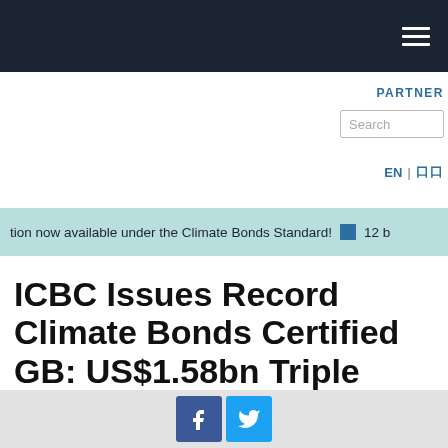Navigation bar with hamburger menu
PARTNER
Search
EN | 中文
tion now available under the Climate Bonds Standard!  12 b
ICBC Issues Record Climate Bonds Certified GB: US$1.58bn Triple Tranche: World's Biggest Bank, London Listing - Landmark Green Transaction
[Figure (other): Facebook and Twitter social share buttons at the bottom of the page]